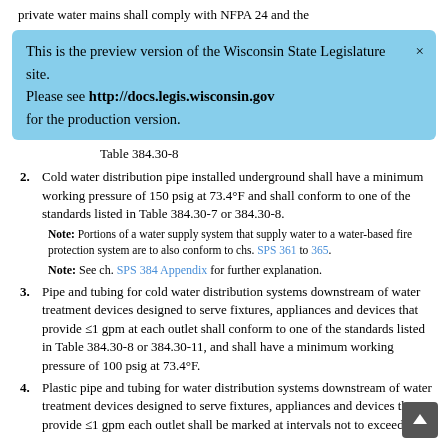private water mains shall comply with NFPA 24 and the
This is the preview version of the Wisconsin State Legislature site. Please see http://docs.legis.wisconsin.gov for the production version.
Table 384.30-8
2. Cold water distribution pipe installed underground shall have a minimum working pressure of 150 psig at 73.4°F and shall conform to one of the standards listed in Table 384.30-7 or 384.30-8.
Note: Portions of a water supply system that supply water to a water-based fire protection system are to also conform to chs. SPS 361 to 365.
Note: See ch. SPS 384 Appendix for further explanation.
3. Pipe and tubing for cold water distribution systems downstream of water treatment devices designed to serve fixtures, appliances and devices that provide ≤1 gpm at each outlet shall conform to one of the standards listed in Table 384.30-8 or 384.30-11, and shall have a minimum working pressure of 100 psig at 73.4°F.
4. Plastic pipe and tubing for water distribution systems downstream of water treatment devices designed to serve fixtures, appliances and devices that provide ≤1 gpm each outlet shall be marked at intervals not to exceed